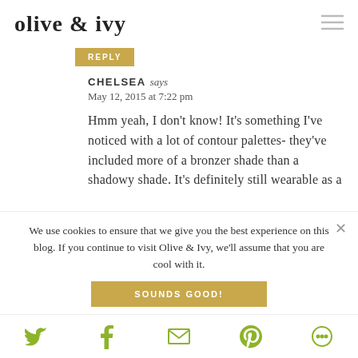olive & ivy
REPLY
CHELSEA says
May 12, 2015 at 7:22 pm
Hmm yeah, I don't know! It's something I've noticed with a lot of contour palettes- they've included more of a bronzer shade than a shadowy shade. It's definitely still wearable as a
We use cookies to ensure that we give you the best experience on this blog. If you continue to visit Olive & Ivy, we'll assume that you are cool with it.
SOUNDS GOOD!